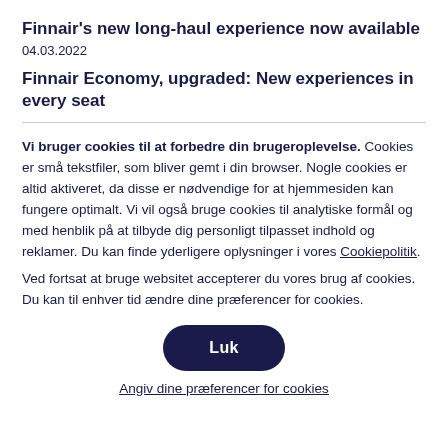Finnair's new long-haul experience now available
04.03.2022
Finnair Economy, upgraded: New experiences in every seat
Vi bruger cookies til at forbedre din brugeroplevelse. Cookies er små tekstfiler, som bliver gemt i din browser. Nogle cookies er altid aktiveret, da disse er nødvendige for at hjemmesiden kan fungere optimalt. Vi vil også bruge cookies til analytiske formål og med henblik på at tilbyde dig personligt tilpasset indhold og reklamer. Du kan finde yderligere oplysninger i vores Cookiepolitik.
Ved fortsat at bruge websitet accepterer du vores brug af cookies. Du kan til enhver tid ændre dine præferencer for cookies.
Luk
Angiv dine præferencer for cookies